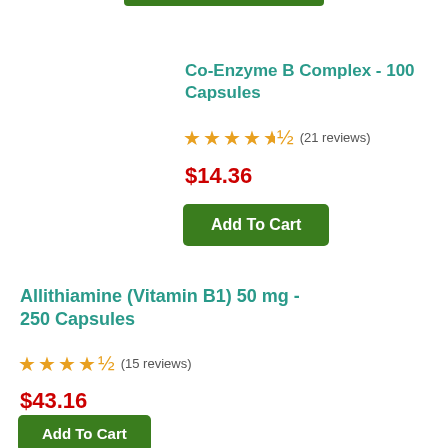Co-Enzyme B Complex - 100 Capsules
★★★★½ (21 reviews)
$14.36
Add To Cart
Allithiamine (Vitamin B1) 50 mg - 250 Capsules
★★★★½ (15 reviews)
$43.16
Add To Cart